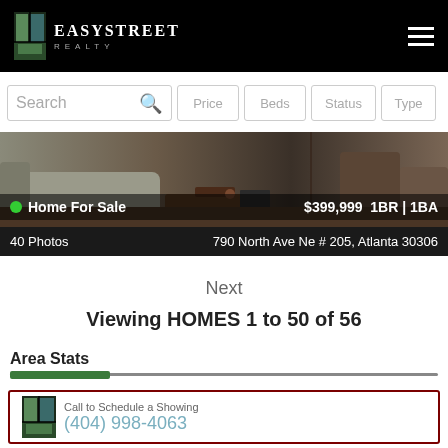EasyStreet Realty
[Figure (screenshot): Search bar with Price, Beds, Status, Type filter buttons]
[Figure (photo): Interior living room photo showing sofa and coffee table]
Home For Sale  $399,999  1BR | 1BA
40 Photos  790 North Ave Ne # 205, Atlanta 30306
Next
Viewing HOMES 1 to 50 of 56
Area Stats
Call to Schedule a Showing  (404) 998-4063